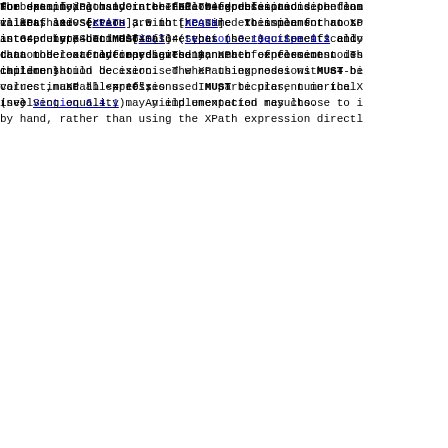for specifying many inter-node references and dependenc clients and servers are not required to implement an XP interpreter, but MUST ensure that the requirements enco data model are enforced. The manner of enforcement is implementation decision. The XPath expressions MUST be correct, and all prefixes used MUST be present in the X (see Section 6.4.1). An implementation may choose to i by hand, rather than using the XPath expression directl
The data model used in the XPath expressions is the sam in XPath 1.0 [XPATH], with the same extension for root as used by XSLT 1.0 [XSLT] (Section 3.1). Specifically that the root node may have any number of element nodes children.
Numbers in XPath 1.0 are IEEE 754 double-precision floa values, see Section 3.5 in [XPATH]. This means that so int64, uint64 and decimal64 types (see Section 9.2 and cannot be exactly represented in XPath expressions. Th caution should be exercised when using nodes with 64-bi values in XPath expressions. In particular, numerical involving equality may yield unexpected results.
For example, consider the following definition: